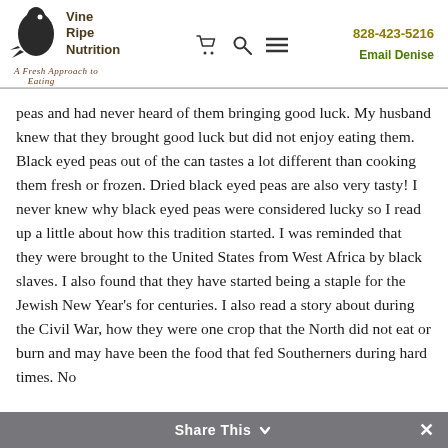Vine Ripe Nutrition — A Fresh Approach to Eating | 828-423-5216 | Email Denise
peas and had never heard of them bringing good luck. My husband knew that they brought good luck but did not enjoy eating them. Black eyed peas out of the can tastes a lot different than cooking them fresh or frozen. Dried black eyed peas are also very tasty! I never knew why black eyed peas were considered lucky so I read up a little about how this tradition started. I was reminded that they were brought to the United States from West Africa by black slaves. I also found that they have started being a staple for the Jewish New Year's for centuries. I also read a story about during the Civil War, how they were one crop that the North did not eat or burn and may have been the food that fed Southerners during hard times. No
Share This